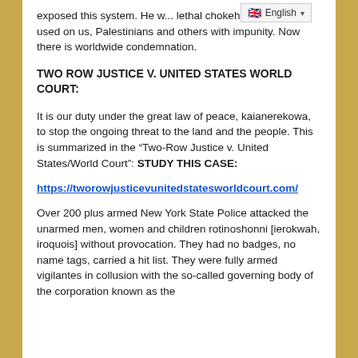exposed this system. He w... lethal chokehold that was used on us, Palestinians and others with impunity. Now there is worldwide condemnation.
TWO ROW JUSTICE V. UNITED STATES WORLD COURT:
It is our duty under the great law of peace, kaianerekowa, to stop the ongoing threat to the land and the people. This is summarized in the “Two-Row Justice v. United States/World Court”: STUDY THIS CASE:
https://tworowjusticevunitedstatesworldcourt.com/
Over 200 plus armed New York State Police attacked the unarmed men, women and children rotinoshonni [ierokwah, iroquois] without provocation. They had no badges, no name tags, carried a hit list. They were fully armed vigilantes in collusion with the so-called governing body of the corporation known as the